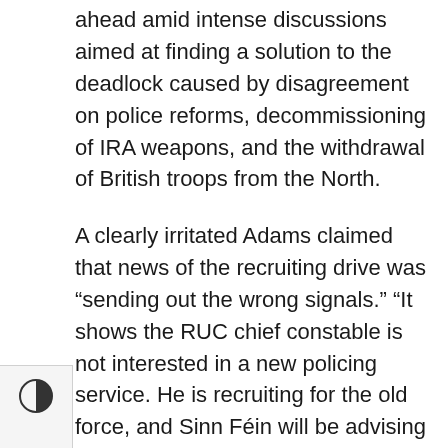ahead amid intense discussions aimed at finding a solution to the deadlock caused by disagreement on police reforms, decommissioning of IRA weapons, and the withdrawal of British troops from the North.
A clearly irritated Adams claimed that news of the recruiting drive was “sending out the wrong signals.” “It shows the RUC chief constable is not interested in a new policing service. He is recruiting for the old force, and Sinn Féin will be advising people not to have any part in anything less than what would bring about a platform for sustainable change,” he told Anderson. He added that the British government seemed to be about to